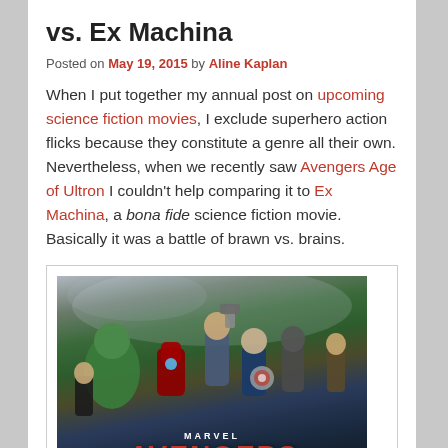vs. Ex Machina
Posted on May 19, 2015 by Aline Kaplan
When I put together my annual post on upcoming science fiction movies, I exclude superhero action flicks because they constitute a genre all their own. Nevertheless, when we recently saw Avengers Age of Ultron I couldn't help comparing it to Ex Machina, a bona fide science fiction movie. Basically it was a battle of brawn vs. brains.
[Figure (photo): Avengers: Age of Ultron movie poster showing superhero characters including Hulk, Iron Man, Thor, Captain America and others in action poses, with MARVEL AVENGERS text at bottom]